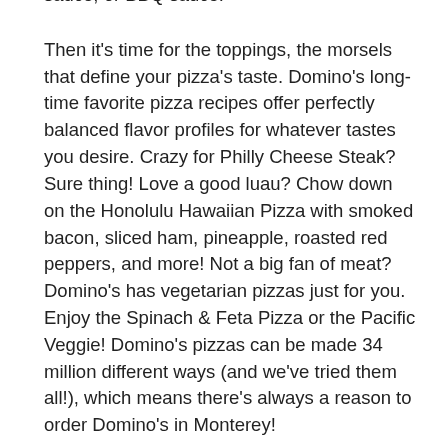sauce, or BBQ sauce!
Then it's time for the toppings, the morsels that define your pizza's taste. Domino's long-time favorite pizza recipes offer perfectly balanced flavor profiles for whatever tastes you desire. Crazy for Philly Cheese Steak? Sure thing! Love a good luau? Chow down on the Honolulu Hawaiian Pizza with smoked bacon, sliced ham, pineapple, roasted red peppers, and more! Not a big fan of meat? Domino's has vegetarian pizzas just for you. Enjoy the Spinach & Feta Pizza or the Pacific Veggie! Domino's pizzas can be made 34 million different ways (and we've tried them all!), which means there's always a reason to order Domino's in Monterey!
You can design a one-of-a-kind pizza, too. The Pizza Builder lets you put a personal spin on your pizza. Pick the pizza, size, crust type, cheese amount, and any topping that looks too good to pass up. The pizza possibilities are never-ending! After all, love comes in all shapes and slices! And don't forget desserts, bread twists, drinks, and dipping sauces to round out your meal. Complete your order and get out the plates. It's okay to drool a little bit. A box full of deliciousness is about to be ready for takeout or delivery in Monterey!